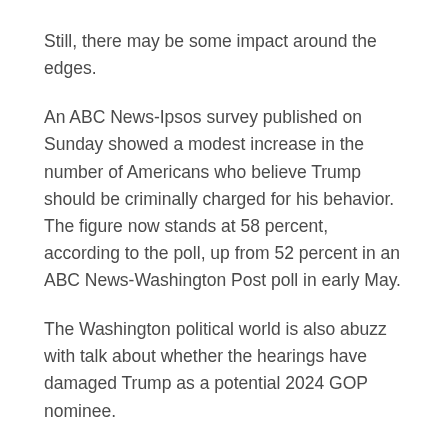Still, there may be some impact around the edges.
An ABC News-Ipsos survey published on Sunday showed a modest increase in the number of Americans who believe Trump should be criminally charged for his behavior. The figure now stands at 58 percent, according to the poll, up from 52 percent in an ABC News-Washington Post poll in early May.
The Washington political world is also abuzz with talk about whether the hearings have damaged Trump as a potential 2024 GOP nominee.
The hearings have served as one more reminder of how much tumult and trauma the 45th president always brings in his wake.
A New Hampshire poll on Wednesday, showing Florida Gov. Ron DeSantis (R) edging ahead of Trump among likely GOP primary voters in the state, further fueled this speculation.